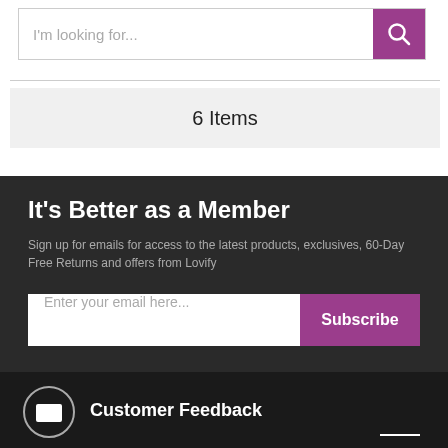[Figure (screenshot): Search bar with placeholder text 'I'm looking for...' and a purple search button with magnifying glass icon]
6 Items
It's Better as a Member
Sign up for emails for access to the latest products, exclusives, 60-Day Free Returns and offers from Lovify
[Figure (screenshot): Email subscription input field with placeholder 'Enter your email here...' and a purple Subscribe button]
Customer Feedback